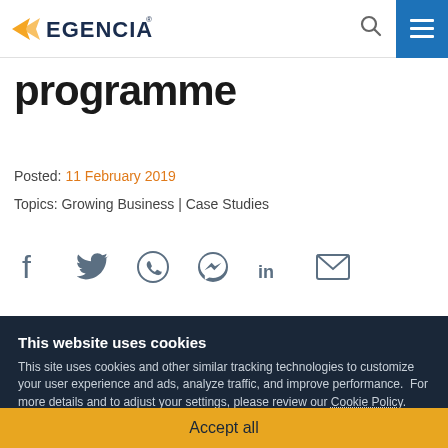Egencia
programme
Posted: 11 February 2019
Topics: Growing Business | Case Studies
[Figure (other): Social sharing icons: Facebook, Twitter, WhatsApp, Messenger, LinkedIn, Email]
This website uses cookies
This site uses cookies and other similar tracking technologies to customize your user experience and ads, analyze traffic, and improve performance.  For more details and to adjust your settings, please review our Cookie Policy.
Accept all